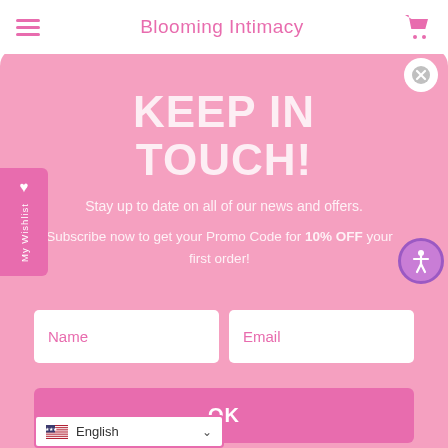Blooming Intimacy
KEEP IN TOUCH!
Stay up to date on all of our news and offers.
Subscribe now to get your Promo Code for 10% OFF your first order!
[Figure (screenshot): Email signup form with Name and Email input fields]
OK
English